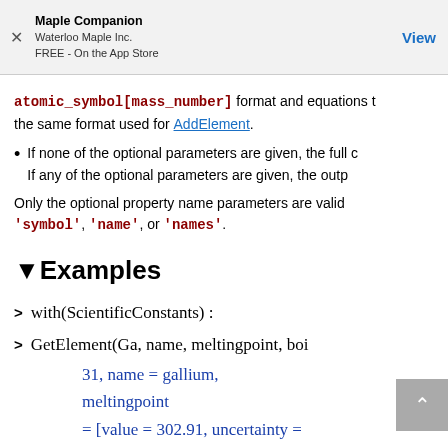Maple Companion
Waterloo Maple Inc.
FREE - On the App Store
atomic_symbol[mass_number] format and equations t the same format used for AddElement.
If none of the optional parameters are given, the full c If any of the optional parameters are given, the outp
Only the optional property name parameters are valid 'symbol', 'name', or 'names'.
▼Examples
> with(ScientificConstants) :
> GetElement(Ga, name, meltingpoint, boi
31, name = gallium,
meltingpoint
= [value = 302.91, uncertainty =